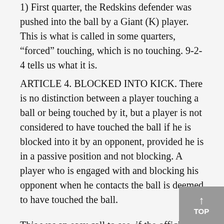1) First quarter, the Redskins defender was pushed into the ball by a Giant (K) player. This is what is called in some quarters, “forced” touching, which is no touching. 9-2-4 tells us what it is.
ARTICLE 4. BLOCKED INTO KICK. There is no distinction between a player touching a ball or being touched by it, but a player is not considered to have touched the ball if he is blocked into it by an opponent, provided he is in a passive position and not blocking. A player who is engaged with and blocking his opponent when he contacts the ball is deemed to have touched the ball.
This was an easy call to see, if the official is focused in on what he should be watching...